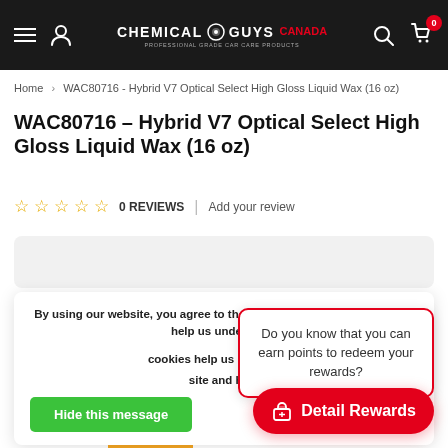Chemical Guys Canada
Home > WAC80716 - Hybrid V7 Optical Select High Gloss Liquid Wax (16 oz)
WAC80716 - Hybrid V7 Optical Select High Gloss Liquid Wax (16 oz)
0 REVIEWS | Add your review
By using our website, you agree to the use of cookies. These cookies help us understand how customers use our site and help us make improvements.
Hide this message
Do you know that you can earn points to redeem your rewards?
Detail Rewards